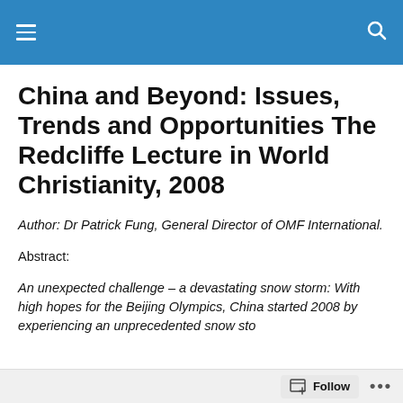Navigation header bar with hamburger menu and search icon
China and Beyond: Issues, Trends and Opportunities The Redcliffe Lecture in World Christianity, 2008
Author: Dr Patrick Fung, General Director of OMF International.
Abstract:
An unexpected challenge – a devastating snow storm: With high hopes for the Beijing Olympics, China started 2008 by experiencing an unprecedented snow sto
Follow ...